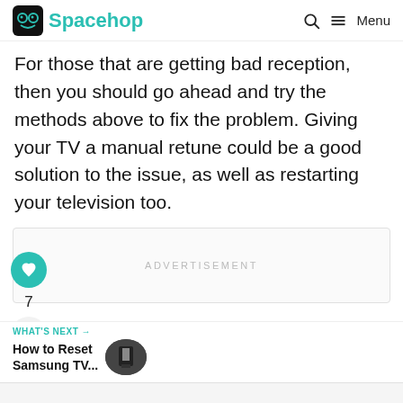Spacehop
For those that are getting bad reception, then you should go ahead and try the methods above to fix the problem. Giving your TV a manual retune could be a good solution to the issue, as well as restarting your television too.
[Figure (other): Advertisement placeholder box with text ADVERTISEMENT]
7
WHAT'S NEXT → How to Reset Samsung TV...